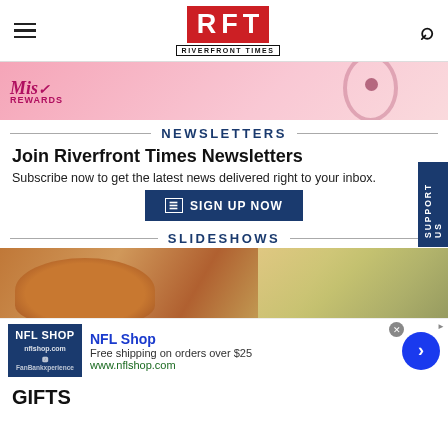RFT Riverfront Times
[Figure (illustration): Mist Rewards advertisement banner — pink/coral background with decorative circular elements and cursive 'Mist Rewards' text]
NEWSLETTERS
Join Riverfront Times Newsletters
Subscribe now to get the latest news delivered right to your inbox.
SIGN UP NOW
SLIDESHOWS
[Figure (photo): Food photo showing a burger bun and side dish (potato salad or similar)]
[Figure (advertisement): NFL Shop advertisement — Free shipping on orders over $25, www.nflshop.com]
GIFTS